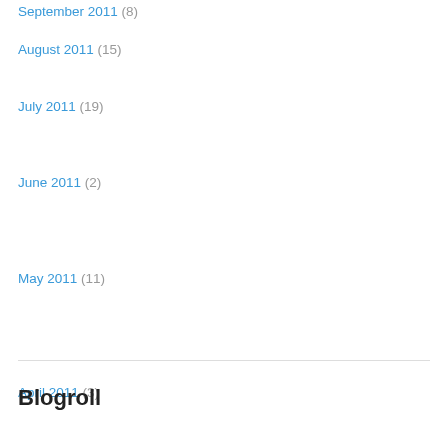September 2011 (8)
August 2011 (15)
July 2011 (19)
June 2011 (2)
May 2011 (11)
April 2011 (3)
March 2011 (1)
February 2011 (2)
December 2010 (1)
November 2010 (1)
September 2010 (3)
August 2010 (16)
July 2010 (3)
June 2010 (2)
May 2010 (7)
April 2010 (3)
March 2010 (4)
Blogroll